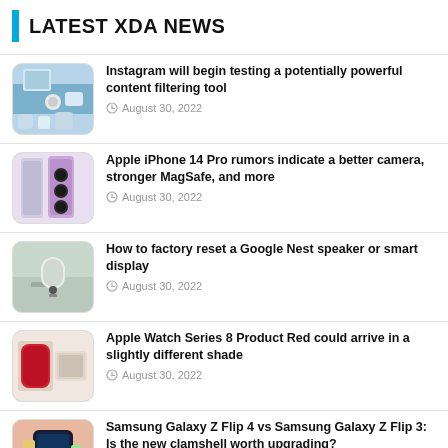LATEST XDA NEWS
Instagram will begin testing a potentially powerful content filtering tool — August 30, 2022
Apple iPhone 14 Pro rumors indicate a better camera, stronger MagSafe, and more — August 30, 2022
How to factory reset a Google Nest speaker or smart display — August 30, 2022
Apple Watch Series 8 Product Red could arrive in a slightly different shade — August 30, 2022
Samsung Galaxy Z Flip 4 vs Samsung Galaxy Z Flip 3: Is the new clamshell worth upgrading?